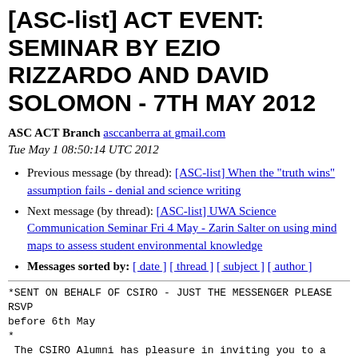[ASC-list] ACT EVENT: SEMINAR BY EZIO RIZZARDO AND DAVID SOLOMON - 7TH MAY 2012
ASC ACT Branch asccanberra at gmail.com
Tue May 1 08:50:14 UTC 2012
Previous message (by thread): [ASC-list] When the "truth wins" assumption fails - denial and science writing
Next message (by thread): [ASC-list] UWA Science Communication Seminar Fri 4 May - Zarin Salter on using mind maps to assess student environmental knowledge
Messages sorted by: [ date ] [ thread ] [ subject ] [ author ]
*SENT ON BEHALF OF CSIRO - JUST THE MESSENGER PLEASE RSVP before 6th May
*
The CSIRO Alumni has pleasure in inviting you to a public lecture to solar panels: Innovations in polymer science